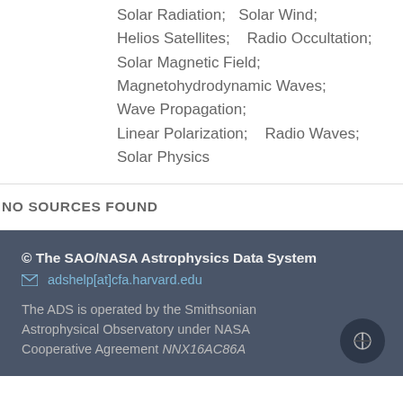Solar Radiation;   Solar Wind;   Helios Satellites;    Radio Occultation;   Solar Magnetic Field;   Magnetohydrodynamic Waves;   Wave Propagation;   Linear Polarization;    Radio Waves;   Solar Physics
NO SOURCES FOUND
© The SAO/NASA Astrophysics Data System
adshelp[at]cfa.harvard.edu
The ADS is operated by the Smithsonian Astrophysical Observatory under NASA Cooperative Agreement NNX16AC86A